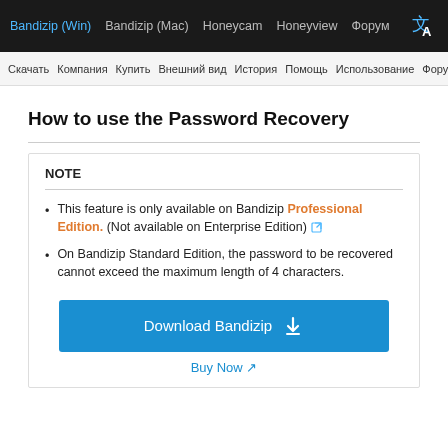Bandizip (Win) | Bandizip (Mac) | Honeycam | Honeyview | Форум
Скачать  Компания  Купить  Внешний вид  История  Помощь  Использование  Форум
How to use the Password Recovery
NOTE
This feature is only available on Bandizip Professional Edition. (Not available on Enterprise Edition)
On Bandizip Standard Edition, the password to be recovered cannot exceed the maximum length of 4 characters.
Download Bandizip
Buy Now